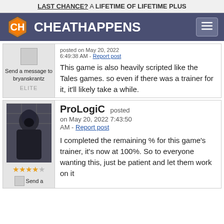LAST CHANCE? A LIFETIME OF LIFETIME PLUS
[Figure (logo): CheatHappens logo with hexagonal CH emblem and site name text]
posted on May 20, 2022
6:49:38 AM - Report post
Send a message to bryanskrantz
ELITE
This game is also heavily scripted like the Tales games. so even if there was a trainer for it, it'll likely take a while.
ProLogiC posted on May 20, 2022 7:43:50 AM - Report post
I completed the remaining % for this game's trainer, it's now at 100%. So to everyone wanting this, just be patient and let them work on it
Send a